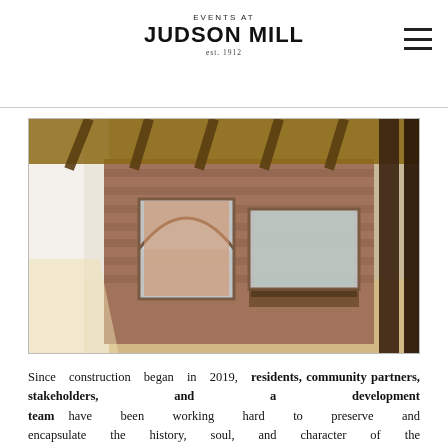EVENTS AT JUDSON MILL est. 1912
[Figure (photo): Interior of an old industrial mill building showing exposed wooden ceiling beams, brick walls with arched windows, and natural light streaming through large windows. The space appears to be under renovation or repurposing.]
Since construction began in 2019, residents, community partners, stakeholders, and a development team have been working hard to preserve and encapsulate the history, soul, and character of the area. The idea behind the project is to create